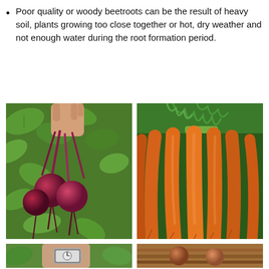Poor quality or woody beetroots can be the result of heavy soil, plants growing too close together or hot, dry weather and not enough water during the root formation period.
[Figure (photo): A hand holding a bunch of small red beetroots with long roots, against a green leafy background.]
[Figure (photo): A bunch of fresh orange carrots with green tops tied together, viewed from above.]
[Figure (photo): A person's wrist with a watch holding or near green vegetable leaves.]
[Figure (photo): Two round brown/orange root vegetables on wooden sticks or twigs.]